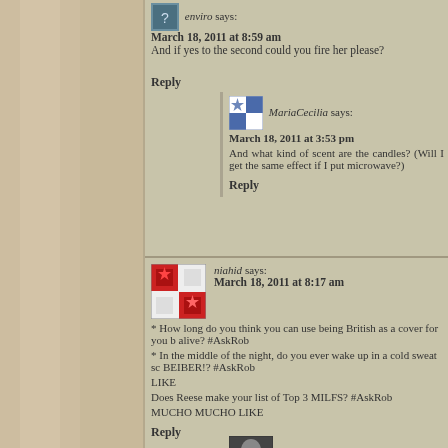enviro says:
March 18, 2011 at 8:59 am
And if yes to the second could you fire her please?
Reply
MariaCecilia says:
March 18, 2011 at 3:53 pm
And what kind of scent are the candles? (Will I get the same effect if I put microwave?)
Reply
niahid says:
March 18, 2011 at 8:17 am
* How long do you think you can use being British as a cover for you b alive? #AskRob
* In the middle of the night, do you ever wake up in a cold sweat sc BEIBER!? #AskRob
LIKE
Does Reese make your list of Top 3 MILFS? #AskRob
MUCHO MUCHO LIKE
Reply
The Old One says: